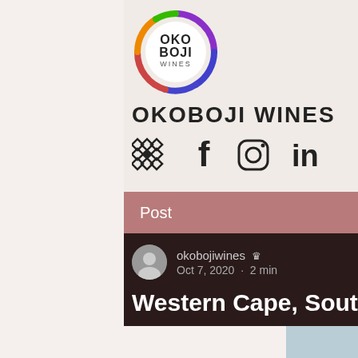[Figure (logo): Okoboji Wines circular rainbow logo with OKO BOJI WINES text in center]
OKOBOJI WINES
[Figure (infographic): Social media icons row: diamond lattice icon, Facebook f, Instagram camera, LinkedIn in]
Post   🔍   Sign Up
okobojiwines 👑
Oct 7, 2020 · 2 min
Western Cape, South Africa; Day 2